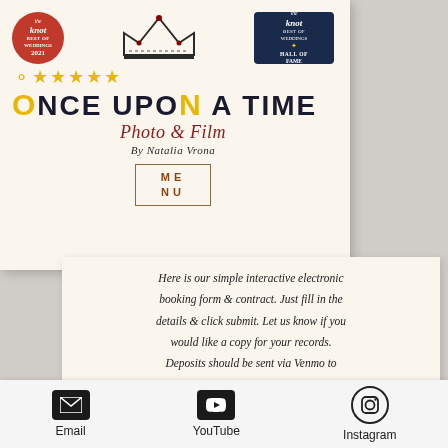[Figure (logo): Once Upon a Time Photo & Film logo with The Knot Best of Weddings 2021 badge, crown illustration, five gold stars, The Knot Best of Weddings Hall of Fame badge, script text 'Photo & Film By Natalia Vrona', and MENU button]
Here is our simple interactive electronic booking form & contract. Just fill in the details & click submit. Let us know if you would like a copy for your records. Deposits should be sent via Venmo to @onceuponatimelilux
Email   YouTube   Instagram